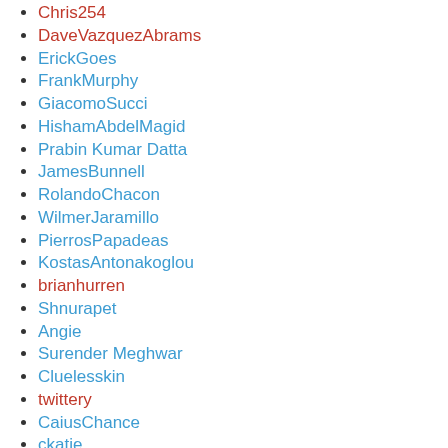Chris254
DaveVazquezAbrams
ErickGoes
FrankMurphy
GiacomoSucci
HishamAbdelMagid
Prabin Kumar Datta
JamesBunnell
RolandoChacon
WilmerJaramillo
PierrosPapadeas
KostasAntonakoglou
brianhurren
Shnurapet
Angie
Surender Meghwar
Cluelesskin
twittery
CaiusChance
ckatje